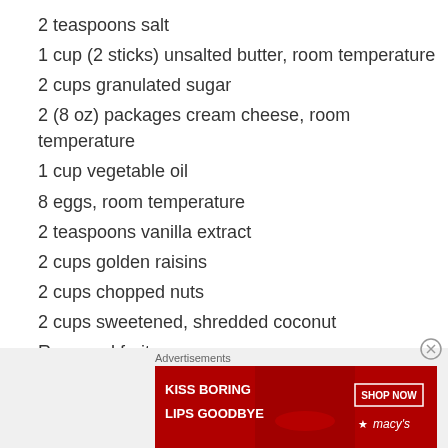2 teaspoons salt
1 cup (2 sticks) unsalted butter, room temperature
2 cups granulated sugar
2 (8 oz) packages cream cheese, room temperature
1 cup vegetable oil
8 eggs, room temperature
2 teaspoons vanilla extract
2 cups golden raisins
2 cups chopped nuts
2 cups sweetened, shredded coconut
Reserved fruit
Preheat the oven to 325°F. Grease and flour two 12-cup
Advertisements
[Figure (photo): Macy's lipstick advertisement banner with red background showing a woman's lips and 'KISS BORING LIPS GOODBYE' text with SHOP NOW button and Macy's logo]